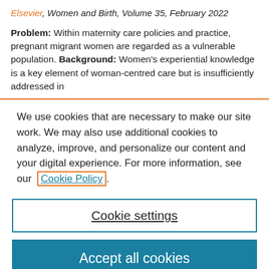Elsevier, Women and Birth, Volume 35, February 2022
Problem: Within maternity care policies and practice, pregnant migrant women are regarded as a vulnerable population. Background: Women's experiential knowledge is a key element of woman-centred care but is insufficiently addressed in
We use cookies that are necessary to make our site work. We may also use additional cookies to analyze, improve, and personalize our content and your digital experience. For more information, see our Cookie Policy.
Cookie settings
Accept all cookies